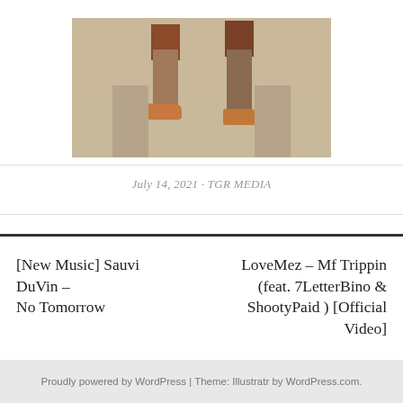[Figure (photo): Partial photo of a person's legs and sneakers/boots standing on pavement, cropped at the top]
July 14, 2021 · TGR MEDIA
[New Music] Sauvi DuVin – No Tomorrow
LoveMez – Mf Trippin (feat. 7LetterBino & ShootyPaid ) [Official Video]
Proudly powered by WordPress | Theme: Illustratr by WordPress.com.